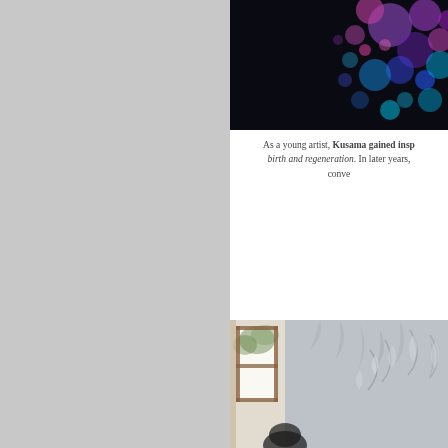[Figure (photo): Dark background with colorful bokeh circles in purple, blue, cyan, and pink — top right area of the page]
As a young artist, Kusama gained insp... birth and regeneration. In later years,... conve...
[Figure (photo): Interior room scene with a window showing natural light and trees outside, grey textured wall with leaf pattern, and partial view of a person at the bottom — bottom right area of the page]